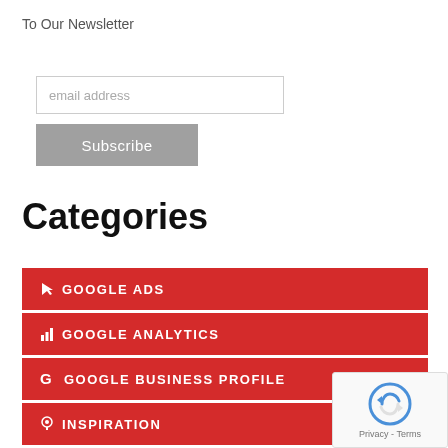To Our Newsletter
email address
Subscribe
Categories
GOOGLE ADS
GOOGLE ANALYTICS
GOOGLE BUSINESS PROFILE
INSPIRATION
JESS NEWS
[Figure (logo): reCAPTCHA logo with Privacy - Terms text]